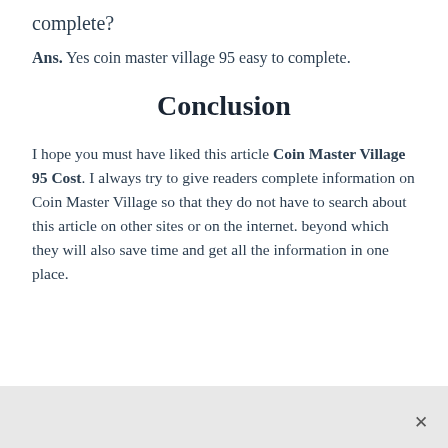complete?
Ans. Yes coin master village 95 easy to complete.
Conclusion
I hope you must have liked this article Coin Master Village 95 Cost. I always try to give readers complete information on Coin Master Village so that they do not have to search about this article on other sites or on the internet. beyond which they will also save time and get all the information in one place.